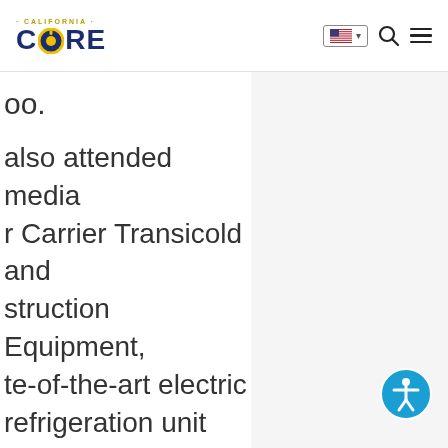California CORE
oo.
also attended media r Carrier Transicold and struction Equipment, te-of-the-art electric refrigeration unit (TRU) y was presented, and a p of zero-emission ion equipment was d. Through networking ach, the benefits of centive opportunities